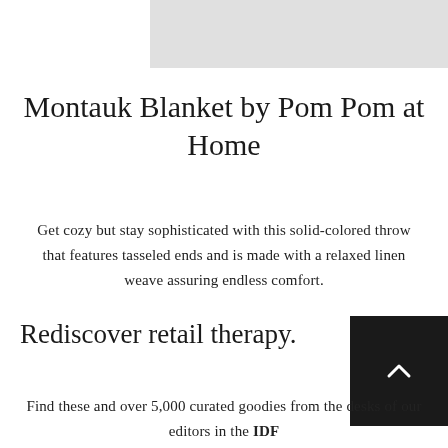[Figure (other): Light gray rectangular banner image at the top of the page]
Montauk Blanket by Pom Pom at Home
Get cozy but stay sophisticated with this solid-colored throw that features tasseled ends and is made with a relaxed linen weave assuring endless comfort.
Rediscover retail therapy.
[Figure (other): Dark/black square button with a white upward-pointing chevron arrow, used as a scroll-to-top button]
Find these and over 5,000 curated goodies from the desks of our editors in the IDF